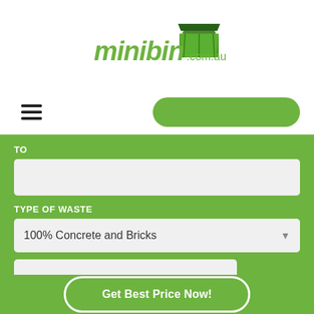[Figure (logo): minibin.com.au logo — green text with a dark green skip bin icon above]
[Figure (other): Hamburger menu icon (three horizontal lines) on the left, and a green pill-shaped button on the right in the navigation bar]
TO
TYPE OF WASTE
100% Concrete and Bricks
Get Best Price Now!